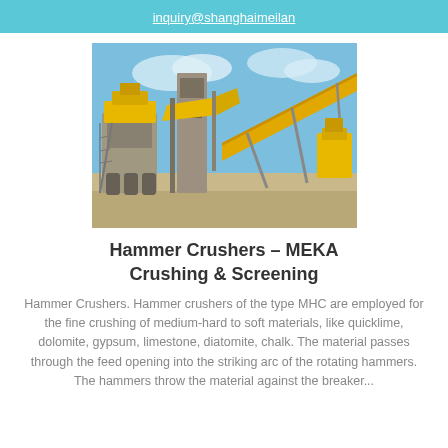inquiry@shanghaimeilan
[Figure (photo): Outdoor industrial hammer crusher and screening plant with yellow machinery and conveyor belts against a blue sky with white clouds.]
Hammer Crushers – MEKA Crushing & Screening
Hammer Crushers. Hammer crushers of the type MHC are employed for the fine crushing of medium-hard to soft materials, like quicklime, dolomite, gypsum, limestone, diatomite, chalk. The material passes through the feed opening into the striking arc of the rotating hammers. The hammers throw the material against the breaker...